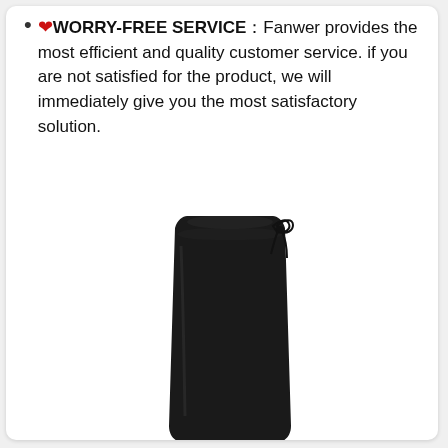❤WORRY-FREE SERVICE：Fanwer provides the most efficient and quality customer service. if you are not satisfied for the product, we will immediately give you the most satisfactory solution.
[Figure (photo): A tall black over-the-knee boot with a bow tie detail at the back top, standing upright on a white background.]